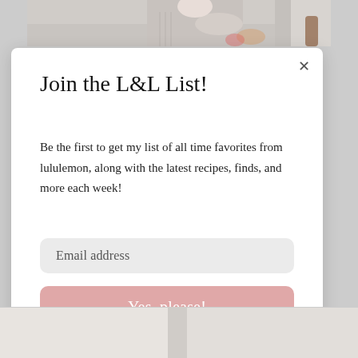[Figure (photo): Person in striped apron cooking or preparing food in a kitchen, cropped at the top of the page]
Join the L&L List!
Be the first to get my list of all time favorites from lululemon, along with the latest recipes, finds, and more each week!
Email address
Yes, please!